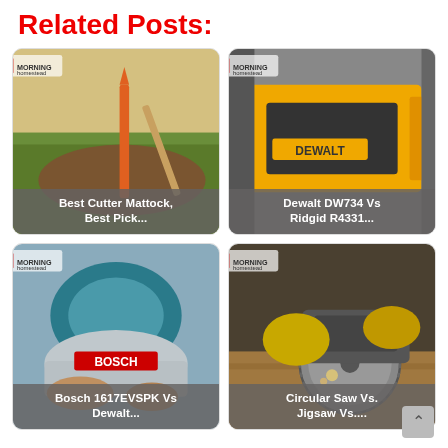Related Posts:
[Figure (photo): Tool card: mattock/pick in soil with orange stake - 'Best Cutter Mattock, Best Pick...']
[Figure (photo): Tool card: Dewalt planer/machine in workshop - 'Dewalt DW734 Vs Ridgid R4331...']
[Figure (photo): Tool card: Bosch router tool close-up - 'Bosch 1617EVSPK Vs Dewalt...']
[Figure (photo): Tool card: circular saw in use with yellow gloves - 'Circular Saw Vs. Jigsaw Vs....']